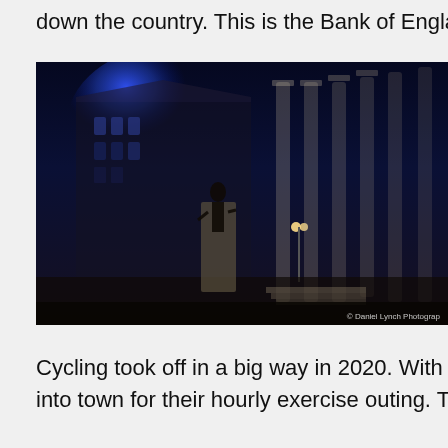down the country. This is the Bank of England illum
[Figure (photo): Night photograph of the Bank of England illuminated in blue light, with a statue in the foreground and the Royal Exchange columns visible on the right. Photo credit: © Daniel Lynch Photograp]
Cycling took off in a big way in 2020. With the stree into town for their hourly exercise outing. This was s